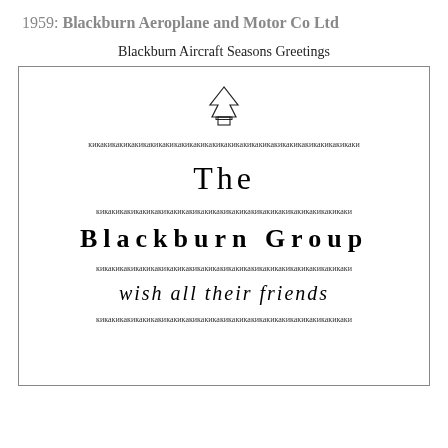1959: Blackburn Aeroplane and Motor Co Ltd
Blackburn Aircraft Seasons Greetings
[Figure (illustration): Greeting card from The Blackburn Group with a Christmas tree icon at the top, decorative ornamental horizontal bars, and text reading 'The', 'Blackburn Group', and 'wish all their friends']